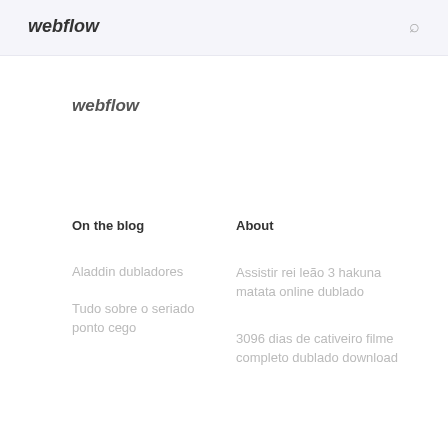webflow
webflow
On the blog
About
Aladdin dubladores
Tudo sobre o seriado ponto cego
Assistir rei leão 3 hakuna matata online dublado
3096 dias de cativeiro filme completo dublado download